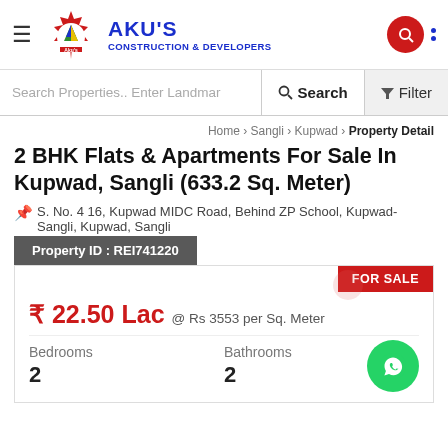AKU'S CONSTRUCTION & DEVELOPERS
Search Properties.. Enter Landmark  Search  Filter
Home › Sangli › Kupwad › Property Detail
2 BHK Flats & Apartments For Sale In Kupwad, Sangli (633.2 Sq. Meter)
S. No. 4 16, Kupwad MIDC Road, Behind ZP School, Kupwad-Sangli, Kupwad, Sangli
Property ID : REI741220
FOR SALE
₹ 22.50 Lac  @ Rs 3553 per Sq. Meter
Bedrooms
2
Bathrooms
2